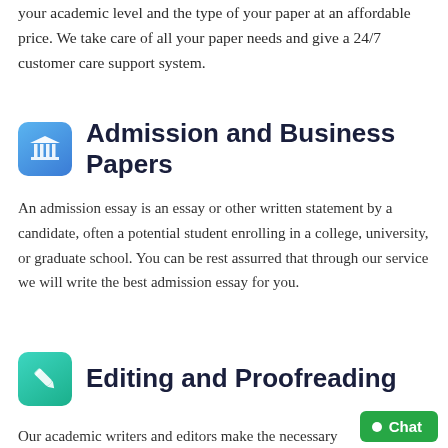your academic level and the type of your paper at an affordable price. We take care of all your paper needs and give a 24/7 customer care support system.
Admission and Business Papers
An admission essay is an essay or other written statement by a candidate, often a potential student enrolling in a college, university, or graduate school. You can be rest assurred that through our service we will write the best admission essay for you.
Editing and Proofreading
Our academic writers and editors make the necessary